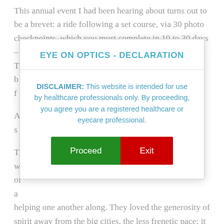This annual event I had been hearing about turns out to be a brevet: a ride following a set course, via 30 photo checkpoints, which you must complete in 10 to 30 days – no more and no less. It follows the route known as The Tour Aotearoa, which uses the b... you f...
A... lly s...
T... ey w... erie of a... tes, helping one another along. They loved the generosity of spirit away from the big cities, the less frenetic pace; it was nice to be out of reach of 24/7 news, just absorbed in rolling towards your next destination; drivers on the back country roads giving a friendly wave as they went by.
EYE ON OPTICS - DECLARATION
DISCLAIMER: This website is intended for use by healthcare professionals only. By proceeding, you agree you are a registered healthcare or eyecare professional.